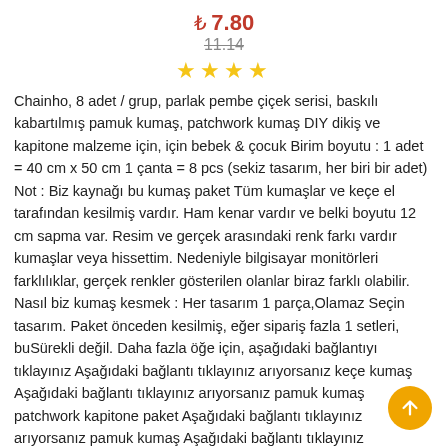₺ 7.80
11.14
[Figure (other): Four yellow star rating icons]
Chainho, 8 adet / grup, parlak pembe çiçek serisi, baskılı kabartılmış pamuk kumaş, patchwork kumaş DIY dikiş ve kapitone malzeme için, için bebek & çocuk Birim boyutu : 1 adet = 40 cm x 50 cm 1 çanta = 8 pcs (sekiz tasarım, her biri bir adet) Not : Biz kaynağı bu kumaş paket Tüm kumaşlar ve keçe el tarafından kesilmiş vardır. Ham kenar vardır ve belki boyutu 12 cm sapma var. Resim ve gerçek arasındaki renk farkı vardır kumaşlar veya hissettim. Nedeniyle bilgisayar monitörleri farklılıklar, gerçek renkler gösterilen olanlar biraz farklı olabilir. Nasıl biz kumaş kesmek : Her tasarım 1 parça,Olamaz Seçin tasarım. Paket önceden kesilmiş, eğer sipariş fazla 1 setleri, buSürekli değil. Daha fazla öğe için, aşağıdaki bağlantıyı tıklayınız Aşağıdaki bağlantı tıklayınız arıyorsanız keçe kumaş Aşağıdaki bağlantı tıklayınız arıyorsanız pamuk kumaş patchwork kapitone paket Aşağıdaki bağlantı tıklayınız arıyorsanız pamuk kumaş Aşağıdaki bağlantı tıklayınız arıyorsanız pamuk keten kumaş Aşağıdaki